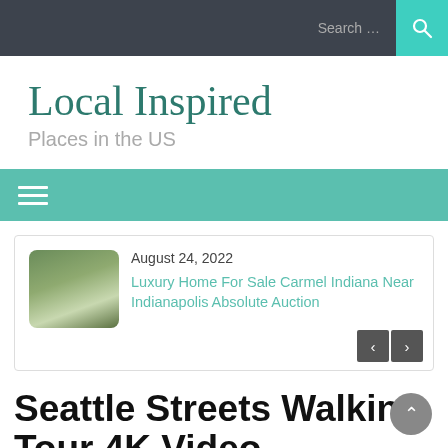Search ...
Local Inspired
Places in the US
[Figure (screenshot): Teal navigation bar with hamburger menu icon]
August 24, 2022
Luxury Home For Sale Carmel Indiana Near Indianapolis Absolute Auction
Seattle Streets Walking Tour 4K Video – Seattle's Downtown and Top